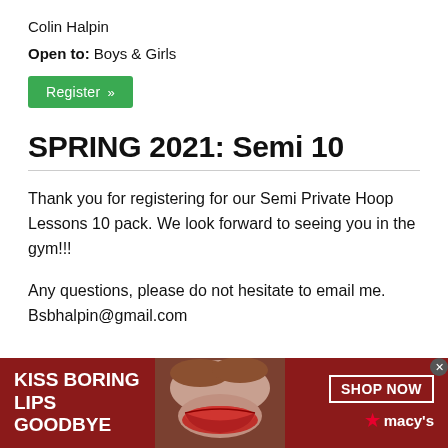Colin Halpin
Open to: Boys & Girls
Register »
SPRING 2021: Semi 10
Thank you for registering for our Semi Private Hoop Lessons 10 pack. We look forward to seeing you in the gym!!!
Any questions, please do not hesitate to email me. Bsbhalpin@gmail.com
[Figure (advertisement): Macy's cosmetics advertisement banner with text 'KISS BORING LIPS GOODBYE' on dark red background, photo of woman with red lips, and 'SHOP NOW' button with Macy's logo]